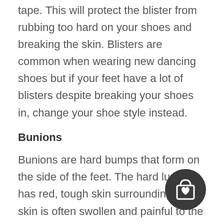tape. This will protect the blister from rubbing too hard on your shoes and breaking the skin. Blisters are common when wearing new dancing shoes but if your feet have a lot of blisters despite breaking your shoes in, change your shoe style instead.
Bunions
Bunions are hard bumps that form on the side of the feet. The hard lump has red, tough skin surrounding it. The skin is often swollen and painful to the touch. Bunions usually form near the big toe. When a bunion forms, the toe becomes misaligned, pointing towards the other toes.
[Figure (illustration): Dark circular icon button with a shopping bag and heart symbol inside, positioned at bottom right of page]
There’s no way to correct bunions other than surgery but you can stop it from getting worse by